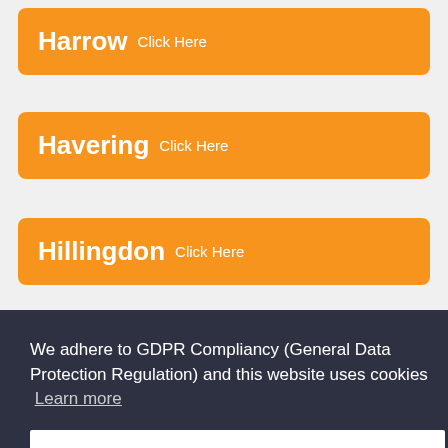Harrow Click Here
Havering Click Here
Hillingdon Click Here
Hounslow (partially visible)
We adhere to GDPR Compliancy (General Data Protection Regulation) and this website uses cookies Learn more
Got it!
Kingston upon Thames (partially visible)